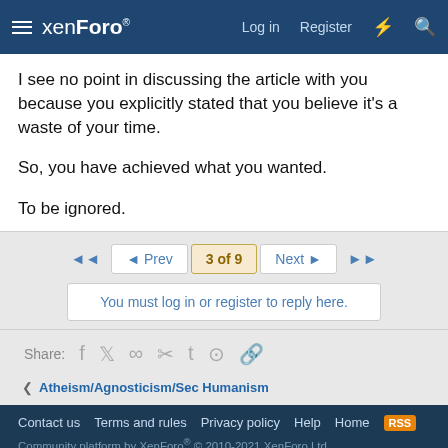xenForo — Log in  Register
I see no point in discussing the article with you because you explicitly stated that you believe it's a waste of your time.

So, you have achieved what you wanted.

To be ignored.
◄◄  ◄ Prev  3 of 9  Next ►  ►►
You must log in or register to reply here.
Share:
‹ Atheism/Agnosticism/Sec Humanism
Contact us  Terms and rules  Privacy policy  Help  Home  RSS
Community platform by XenForo® © 2010-2021 XenForo Ltd.